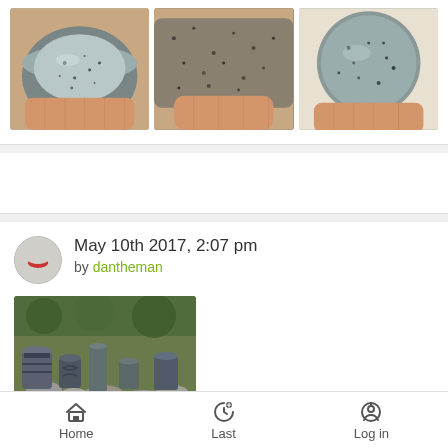[Figure (photo): Three photos of pottery/ceramic bowls held in hands - showing interior, bottom texture, and top view of a gray speckled ceramic bowl]
May 10th 2017, 2:07 pm
by dantheman
[Figure (photo): Photo of multiple ceramic cups and pottery pieces arranged among stones outdoors]
Home   Last   Log in